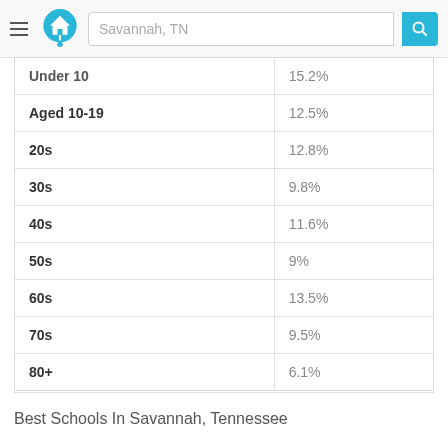Savannah, TN
| Age Group | Percentage |
| --- | --- |
| Under 10 | 15.2% |
| Aged 10-19 | 12.5% |
| 20s | 12.8% |
| 30s | 9.8% |
| 40s | 11.6% |
| 50s | 9% |
| 60s | 13.5% |
| 70s | 9.5% |
| 80+ | 6.1% |
Best Schools In Savannah, Tennessee